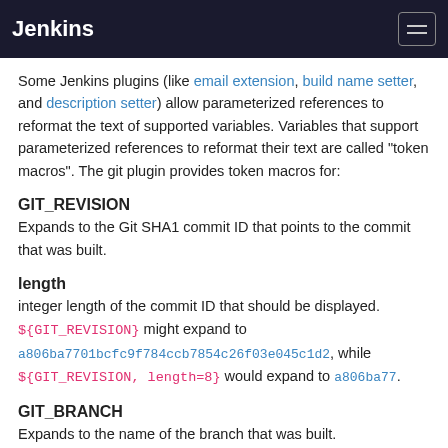Jenkins
Some Jenkins plugins (like email extension, build name setter, and description setter) allow parameterized references to reformat the text of supported variables. Variables that support parameterized references to reformat their text are called "token macros". The git plugin provides token macros for:
GIT_REVISION
Expands to the Git SHA1 commit ID that points to the commit that was built.
length
integer length of the commit ID that should be displayed. ${GIT_REVISION} might expand to a806ba7701bcfc9f784ccb7854c26f03e045c1d2, while ${GIT_REVISION, length=8} would expand to a806ba77.
GIT_BRANCH
Expands to the name of the branch that was built.